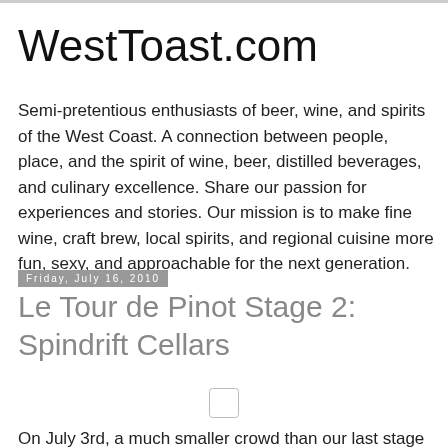WestToast.com
Semi-pretentious enthusiasts of beer, wine, and spirits of the West Coast. A connection between people, place, and the spirit of wine, beer, distilled beverages, and culinary excellence. Share our passion for experiences and stories. Our mission is to make fine wine, craft brew, local spirits, and regional cuisine more fun, sexy, and approachable for the next generation.
Friday, July 16, 2010
Le Tour de Pinot Stage 2: Spindrift Cellars
[Figure (photo): Small image placeholder icon]
On July 3rd, a much smaller crowd than our last stage